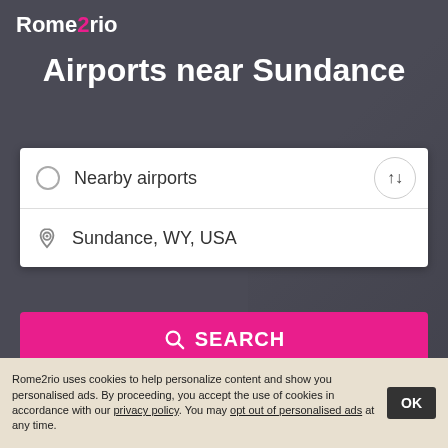[Figure (logo): Rome2rio logo in white script text with pink '2']
Airports near Sundance
[Figure (screenshot): Search form card with two rows: 'Nearby airports' with empty radio button, and 'Sundance, WY, USA' with location pin icon. A swap button (up/down arrows) is on the right.]
[Figure (screenshot): Pink SEARCH button with magnifying glass icon]
Search accommodation with Expedia
Rome2rio uses cookies to help personalize content and show you personalised ads. By proceeding, you accept the use of cookies in accordance with our privacy policy. You may opt out of personalised ads at any time.